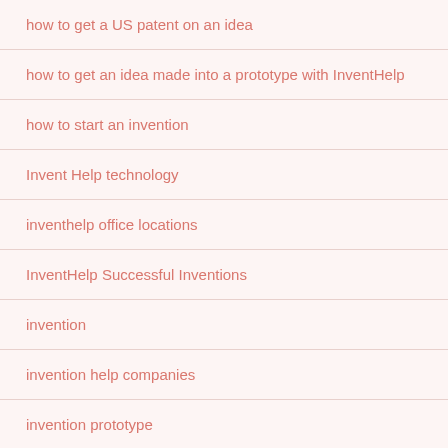how to get a US patent on an idea
how to get an idea made into a prototype with InventHelp
how to start an invention
Invent Help technology
inventhelp office locations
InventHelp Successful Inventions
invention
invention help companies
invention prototype
Ki Residences Singapore
LemonDog SEO service